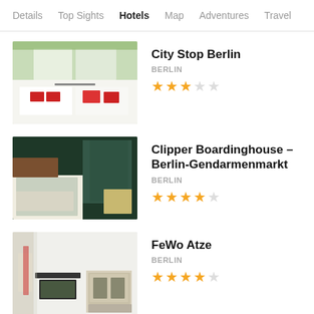Details  Top Sights  Hotels  Map  Adventures  Travel A
[Figure (photo): Hotel room with white beds and red pillows/cushions, bright window in background]
City Stop Berlin
BERLIN
★★★☆☆ (3 out of 5 stars)
[Figure (photo): Hotel room with green curtains, dark wood headboard, grey bedding and yellow chairs]
Clipper Boardinghouse – Berlin-Gendarmenmarkt
BERLIN
★★★★☆ (4 out of 5 stars)
[Figure (photo): Apartment living area with TV on dresser, dining table with chairs]
FeWo Atze
BERLIN
★★★½☆ (3.5 out of 5 stars)